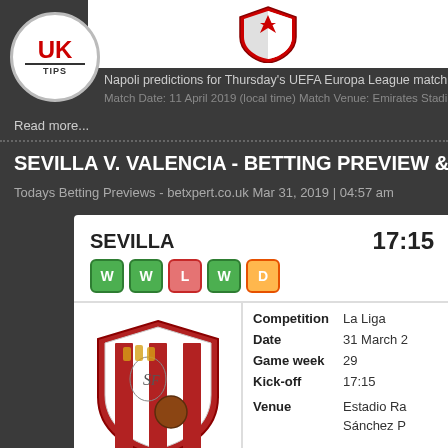[Figure (logo): UK Tips circular logo, red UK text on white background]
Napoli predictions for Thursday's UEFA Europa League match at Emir...
Match Date: 11 April 2019 (local time) Match Venue: Emirates Stadium (London)
Read more...
SEVILLA V. VALENCIA - BETTING PREVIEW &
Todays Betting Previews - betxpert.co.uk Mar 31, 2019 | 04:57 am
[Figure (infographic): Match card for Sevilla vs Valencia showing team name SEVILLA, time 17:15, form badges W W L W D, Sevilla club crest, Competition: La Liga, Date: 31 March, Game week: 29, Kick-off: 17:15, Venue: Estadio Ra... Sanchez P...]